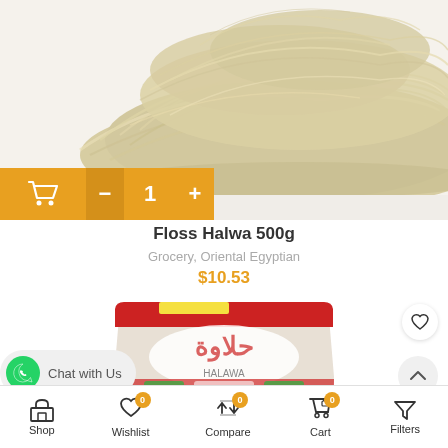[Figure (photo): Photo of Floss Halwa 500g product - shredded fibrous halwa candy piled up, beige/cream colored, with an orange add-to-cart bar showing a cart icon, minus button, quantity 1, and plus button]
Floss Halwa 500g
Grocery, Oriental Egyptian
$10.53
[Figure (photo): Second product image showing a red and white branded package with Arabic text (Halwa brand), with a heart/wishlist button top right and scroll-to-top arrow button bottom right]
Chat with Us
Shop   Wishlist 0   Compare 0   Cart 0   Filters